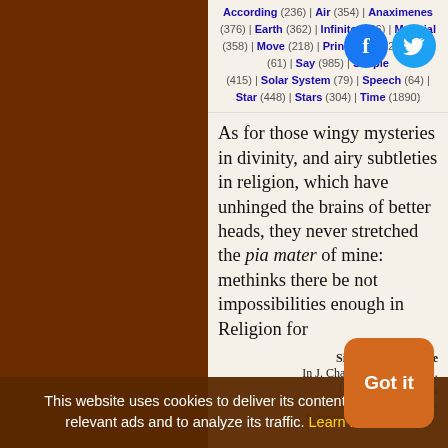According (236) | Air (354) | Anaximenes (376) | Earth (362) | Infinite (236) | Material (358) | Move (218) | Principle (522) | Pupil (61) | Say (985) | Simple (415) | Solar System (79) | Speech (64) | Star (448) | Stars (304) | Time (1890)
As for those wingy mysteries in divinity, and airy subtleties in religion, which have unhinged the brains of better heads, they never stretched the pia mater of mine: methinks there be not impossibilities enough in Religion for an active faith.
— Sir Thomas Browne
In J. Chapman (ed.) Religio Medici (1643, 1831), part 1, sect. 9, 17.
This website uses cookies to deliver its content, to show relevant ads and to analyze its traffic. Learn More